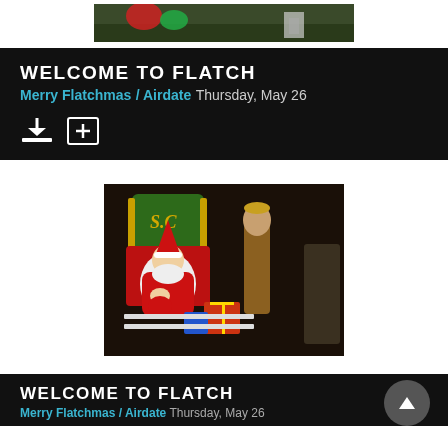[Figure (photo): Partial top photo strip showing colorful outdoor scene, cropped at top of page]
WELCOME TO FLATCH
Merry Flatchmas / Airdate Thursday, May 26
[Figure (photo): Scene from Welcome to Flatch: Santa Claus sitting in a decorated chair holding a crying baby in red outfit, with a man in brown jacket standing nearby, colorful wrapped gifts visible]
WELCOME TO FLATCH
Merry Flatchmas / Airdate Thursday, May 26